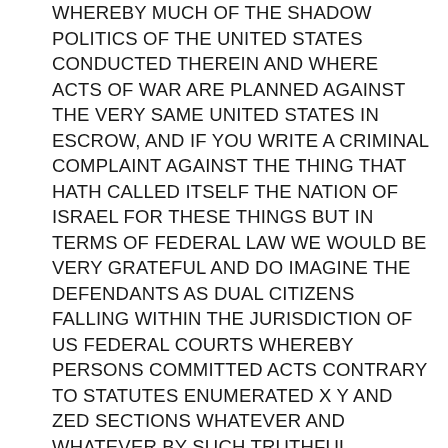WHEREBY MUCH OF THE SHADOW POLITICS OF THE UNITED STATES CONDUCTED THEREIN AND WHERE ACTS OF WAR ARE PLANNED AGAINST THE VERY SAME UNITED STATES IN ESCROW, AND IF YOU WRITE A CRIMINAL COMPLAINT AGAINST THE THING THAT HATH CALLED ITSELF THE NATION OF ISRAEL FOR THESE THINGS BUT IN TERMS OF FEDERAL LAW WE WOULD BE VERY GRATEFUL AND DO IMAGINE THE DEFENDANTS AS DUAL CITIZENS FALLING WITHIN THE JURISDICTION OF US FEDERAL COURTS WHEREBY PERSONS COMMITTED ACTS CONTRARY TO STATUTES ENUMERATED X Y AND ZED SECTIONS WHATEVER AND WHATEVER BY SUCH TRUTHFUL DESCRIPTIONS RECORDED HEREIN THAT ARE THE FORM OF CRIMINAL COMPLAINTS AGAINST THE PRESIDENT NEVER AUTHORED OR UTTERED FOR REASON BULLSHIT IN THE EXTREME COVER-UP OF CRIMES SPECIFICALLY IN THE UKRAINE AND ISRAEL, REPEAT, THERE ARE TO BE FOUND NO CRIMINAL COMPLAINTS AS MOST VITAL IN THE